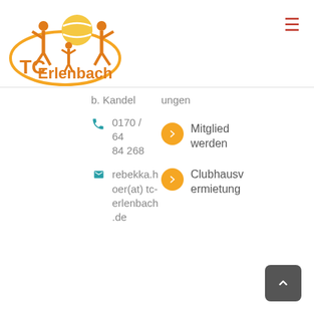[Figure (logo): TC Erlenbach tennis club logo with orange silhouettes of tennis players and a yellow tennis ball, with orange oval border and 'TC Erlenbach' text]
≡
b. Kandel
ungen
0170 / 64 84 268
Mitglied werden
rebekka.hoer(at) tc-erlenbach.de
Clubhausvermietung